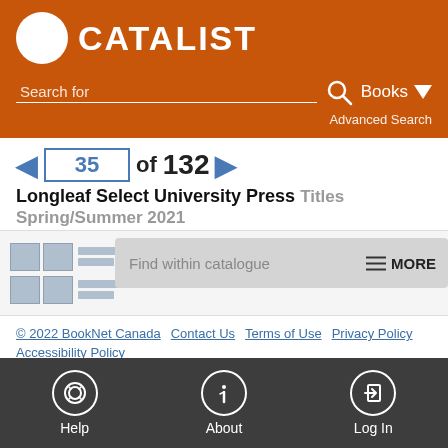[Figure (logo): CATALIST logo with shopping cart icon on orange background]
Search for
Books ▼
Advanced Search
◄  35  of  132  ►
Longleaf Select University Press Titles Spring/Summer 2021
[Figure (screenshot): Thumbnail grid view of catalogue items]
Find within catalogue
≡ MORE
© 2022 BookNet Canada   Contact Us   Terms of Use   Privacy Policy   Accessibility Policy
[Figure (infographic): Bottom navigation bar with Help, About, Log In icons]